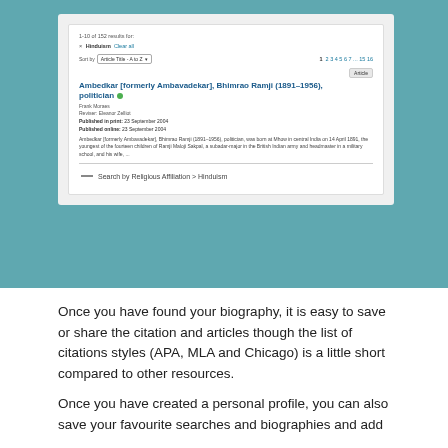[Figure (screenshot): Screenshot of a database search results page showing 1-10 of 152 results for Hinduism filter, with a result for 'Ambedkar [formerly Ambavadekar], Bhimrao Ramji (1891-1956), politician' article, and a link to Search by Religious Affiliation > Hinduism]
Once you have found your biography, it is easy to save or share the citation and articles though the list of citations styles (APA, MLA and Chicago) is a little short compared to other resources.
Once you have created a personal profile, you can also save your favourite searches and biographies and add